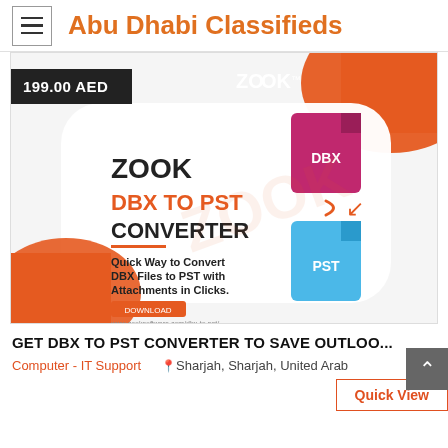Abu Dhabi Classifieds
[Figure (illustration): Product advertisement image for ZOOK DBX TO PST CONVERTER. Shows text 'ZOOK DBX TO PST CONVERTER' with tagline 'Quick Way to Convert DBX Files to PST with Attachments in Clicks.' alongside icons of DBX (magenta file icon) and PST (blue file icon) with an arrow between them. Price badge shows 199.00 AED.]
GET DBX TO PST CONVERTER TO SAVE OUTLOO...
Computer - IT Support  📍 Sharjah, Sharjah, United Arab
Quick View